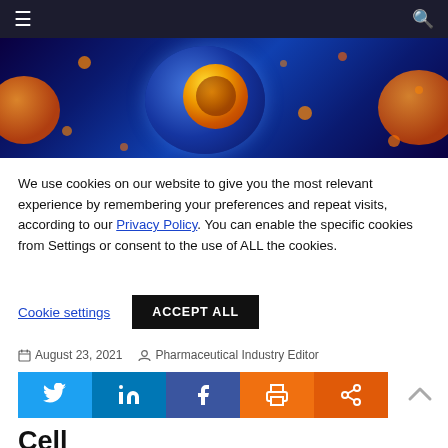[Figure (photo): Microscopic view of cells with blue background, orange/yellow nucleus in center, and orange circular cells scattered around]
We use cookies on our website to give you the most relevant experience by remembering your preferences and repeat visits, according to our Privacy Policy. You can enable the specific cookies from Settings or consent to the use of ALL the cookies.
Cookie settings   ACCEPT ALL
August 23, 2021   Pharmaceutical Industry Editor
[Figure (infographic): Social media sharing buttons: Twitter (blue), LinkedIn (dark blue), Facebook (dark blue), Print (orange), Share (orange)]
Cell